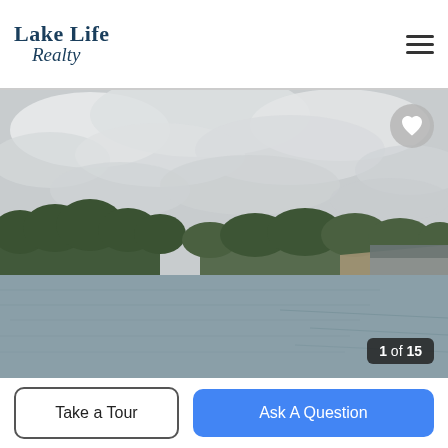Lake Life Realty
[Figure (photo): Scenic lake view with cloudy sky, tree-lined shores, and a covered boat dock on the right side. Color photograph taken from shoreline.]
1 of 15
Take a Tour
Ask A Question